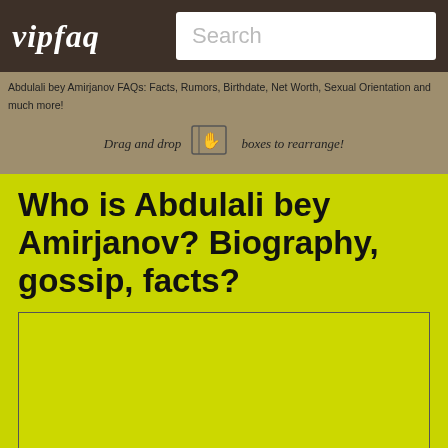vipfaq
Search
Abdulali bey Amirjanov FAQs: Facts, Rumors, Birthdate, Net Worth, Sexual Orientation and much more!
Drag and drop boxes to rearrange!
Who is Abdulali bey Amirjanov? Biography, gossip, facts?
[Figure (other): Advertisement placeholder box]
Abdulali bey Amirjanov Shirali bey oglu (Azerbaijani: bdülli by mircanov irli by olu; 1870 - 1948) was an Azerbaijani statesman who served